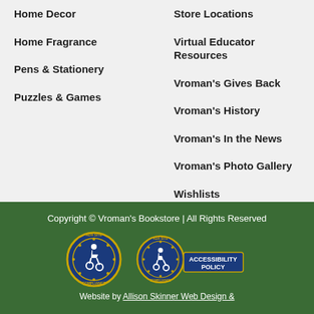Home Decor
Home Fragrance
Pens & Stationery
Puzzles & Games
Store Locations
Virtual Educator Resources
Vroman's Gives Back
Vroman's History
Vroman's In the News
Vroman's Photo Gallery
Wishlists
Copyright © Vroman's Bookstore | All Rights Reserved
[Figure (logo): ADA Site Compliance badge with wheelchair accessibility icon]
[Figure (logo): ADA Site Compliance badge with Accessibility Policy label]
Website by Allison Skinner Web Design &